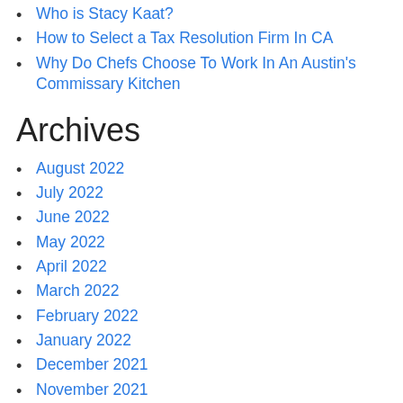Who is Stacy Kaat?
How to Select a Tax Resolution Firm In CA
Why Do Chefs Choose To Work In An Austin's Commissary Kitchen
Archives
August 2022
July 2022
June 2022
May 2022
April 2022
March 2022
February 2022
January 2022
December 2021
November 2021
October 2021
September 2021